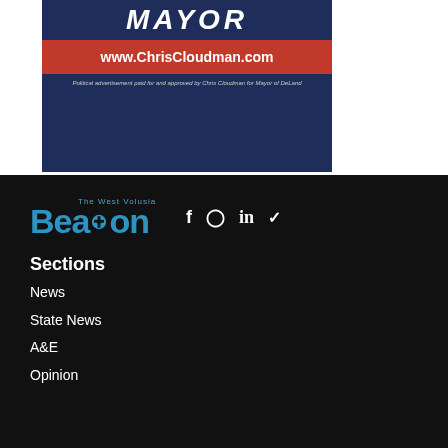[Figure (other): Political advertisement banner for Chris Cloudman for Mayor of DeLand. Dark navy background with 'MAYOR' text in large white italic letters, red bar with 'www.ChrisCloudman.com' in white, and disclaimer text at bottom.]
[Figure (logo): The West Volusia Beacon logo in blue with social media icons (Facebook, Instagram, LinkedIn, Twitter) in white]
Sections
News
State News
A&E
Opinion